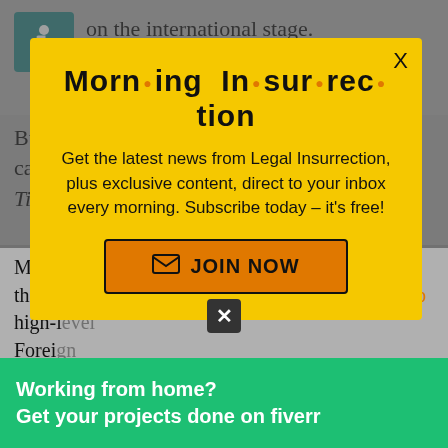[Figure (logo): Wheelchair accessibility icon in teal square]
on the international stage.
But at the same time, the roof is not exactly caving down and Israel is not, as New York Times columnist
[Figure (infographic): Yellow popup modal for Morning Insurrection newsletter subscription with orange JOIN NOW button]
Minister Modi is even expected to visit Israel this year, which would follow hot on the heels of top high-level Foreign
[Figure (infographic): Fiverr green advertisement banner: Working from home? Get your projects done on fiverr]